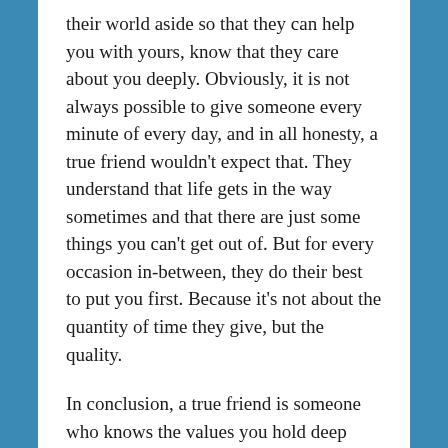their world aside so that they can help you with yours, know that they care about you deeply. Obviously, it is not always possible to give someone every minute of every day, and in all honesty, a true friend wouldn't expect that. They understand that life gets in the way sometimes and that there are just some things you can't get out of. But for every occasion in-between, they do their best to put you first. Because it's not about the quantity of time they give, but the quality.
In conclusion, a true friend is someone who knows the values you hold deep inside and can combine them with those on the surface, applying them both to each and every new situation you face in order to create the best outcome for you. What is more, they'll do so without judgement of you or benefit to themselves. And that is due to